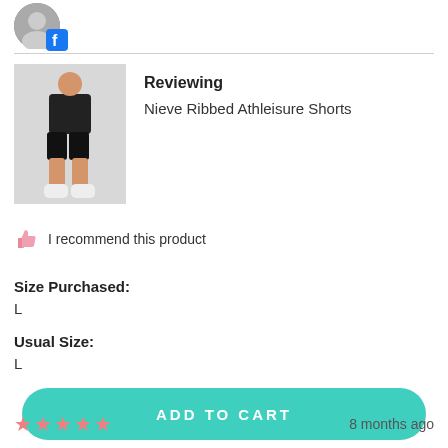[Figure (photo): Profile avatar photo with Facebook badge overlay in top-left area]
[Figure (photo): Product photo of Nieve Ribbed Athleisure Shorts showing a woman wearing black athletic shorts]
Reviewing
Nieve Ribbed Athleisure Shorts
👍 I recommend this product
Size Purchased:
L
Usual Size:
L
ADD TO CART
★★★★★  8 months ago